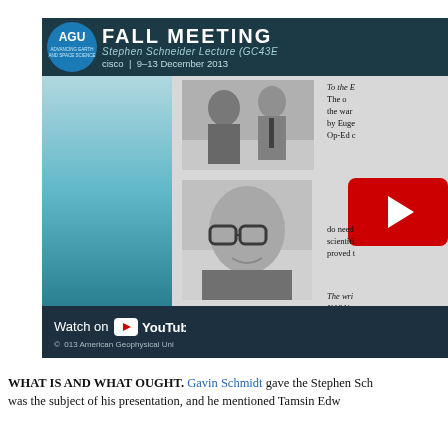[Figure (screenshot): YouTube video thumbnail for AGU Fall Meeting — Stephen Schneider Lecture (GC43E), San Francisco, 9–13 December 2013. Shows AGU logo, two black-and-white photographs of scientists, partial text from a document, and YouTube play button overlay with 'Watch on YouTube' footer. Copyright 2013 American Geophysical Union.]
WHAT IS AND WHAT OUGHT. Gavin Schmidt gave the Stephen Sch... was the subject of his presentation, and he mentioned Tamsin Edw...